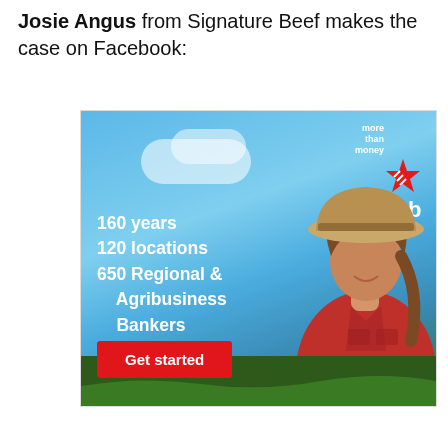Josie Angus from Signature Beef makes the case on Facebook:
[Figure (photo): NAB bank advertisement showing a woman in a red shirt and wide-brim hat outdoors under a blue sky. Text reads: '160 years, 120 locations, 650 Regional & Agribusiness Bankers'. Red 'Get started' button. NAB logo with star and 'more than money' tagline in top right corner.]